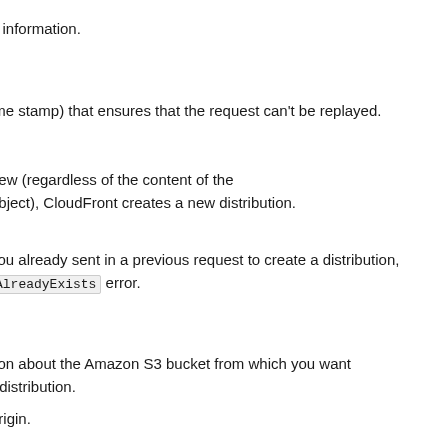n information.
ime stamp) that ensures that the request can't be replayed.
new (regardless of the content of the object), CloudFront creates a new distribution.
you already sent in a previous request to create a distribution, AlreadyExists error.
tion about the Amazon S3 bucket from which you want r distribution.
origin.